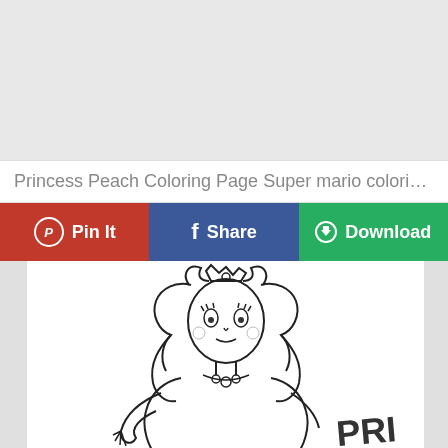[Figure (other): Gray advertisement placeholder area at top of page]
Princess Peach Coloring Page Super mario coloring pa...
[Figure (other): Three action buttons: Pin It (red/Pinterest), Share (blue/Facebook), Download (green)]
[Figure (illustration): Princess Peach coloring page line drawing showing upper body of Princess Peach character with crown, flowing hair, necklace and dress. Text 'PRI' visible in lower right corner.]